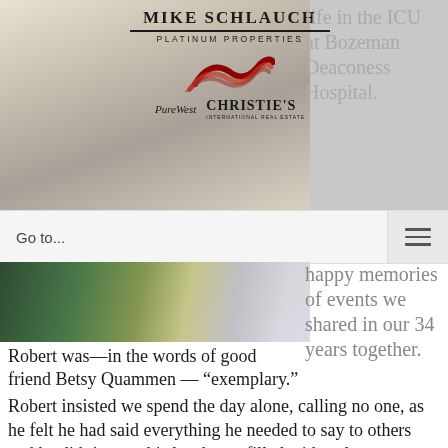[Figure (photo): Mike Schlauch Platinum Properties banner with PureWest and Christie's International Real Estate logos, over a background photo of flowers and a person]
life in the ICU at Bozeman Deaconess Hospital.
Go to...
[Figure (photo): Strip image showing food/table setting with green bottles and a blue bowl]
happy memories of events we shared in our 34 years together.
Robert was—in the words of good friend Betsy Quammen — “exemplary.”
Robert insisted we spend the day alone, calling no one, as he felt he had said everything he needed to say to others and he didn’t want his last hours filled with sadness